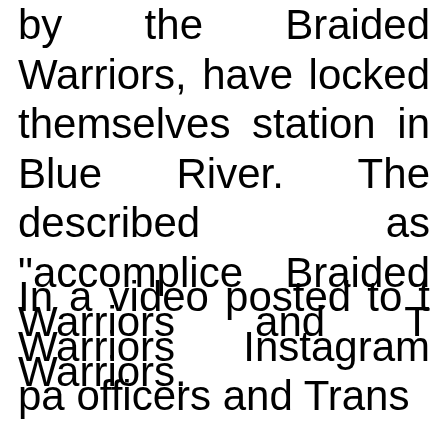by the Braided Warriors, have locked themselves station in Blue River. The described as "accomplice Braided Warriors and T Warriors.
In a video posted to t Warriors Instagram pa officers and Trans